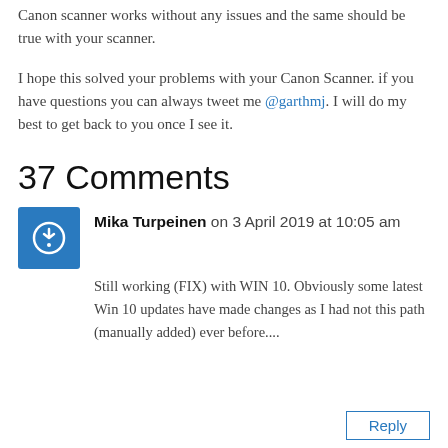Canon scanner works without any issues and the same should be true with your scanner.
I hope this solved your problems with your Canon Scanner. if you have questions you can always tweet me @garthmj. I will do my best to get back to you once I see it.
37 Comments
Mika Turpeinen on 3 April 2019 at 10:05 am
Still working (FIX) with WIN 10. Obviously some latest Win 10 updates have made changes as I had not this path (manually added) ever before....